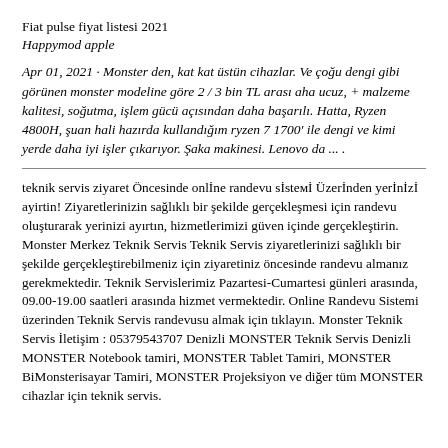Fiat pulse fiyat listesi 2021
Happymod apple
Apr 01, 2021 · Monster den, kat kat üstün cihazlar. Ve çoğu dengi gibi görünen monster modeline göre 2 / 3 bin TL arası aha ucuz, + malzeme kalitesi, soğutma, işlem gücü açısından daha başarılı. Hatta, Ryzen 4800H, şuan hali hazırda kullandığım ryzen 7 1700' ile dengi ve kimi yerde daha iyi işler çıkarıyor. Şaka makinesi. Lenovo da ... .
teknik servis ziyaret Öncesinde online randevu sistemi Üzerinden yerinizi ayirtin! Ziyaretlerinizin sağlıklı bir şekilde gerçekleşmesi için randevu oluşturarak yerinizi ayırtın, hizmetlerimizi güven içinde gerçekleştirin. Monster Merkez Teknik Servis Teknik Servis ziyaretlerinizi sağlıklı bir şekilde gerçekleştirebilmeniz için ziyaretiniz öncesinde randevu almanız gerekmektedir. Teknik Servislerimiz Pazartesi-Cumartesi günleri arasında, 09.00-19.00 saatleri arasında hizmet vermektedir. Online Randevu Sistemi üzerinden Teknik Servis randevusu almak için tıklayın. Monster Teknik Servis İletişim : 05379543707 Denizli MONSTER Teknik Servis Denizli MONSTER Notebook tamiri, MONSTER Tablet Tamiri, MONSTER BiMonsterisayar Tamiri, MONSTER Projeksiyon ve diğer tüm MONSTER cihazlar için teknik servis.